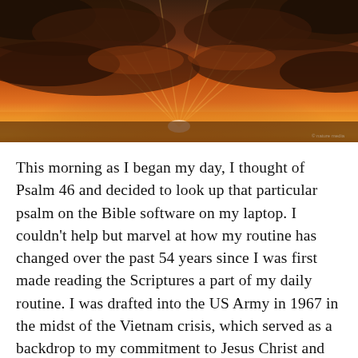[Figure (photo): A dramatic sunset landscape with orange and golden sky, dark storm clouds with rays of light breaking through, silhouetted horizon.]
This morning as I began my day, I thought of Psalm 46 and decided to look up that particular psalm on the Bible software on my laptop. I couldn't help but marvel at how my routine has changed over the past 54 years since I was first made reading the Scriptures a part of my daily routine. I was drafted into the US Army in 1967 in the midst of the Vietnam crisis, which served as a backdrop to my commitment to Jesus Christ and my introduction to the Word of God upon which I decided to build my life. Before I left for basic training, the members of my former church in Gary, Indiana had given me a small leather-bound Bible